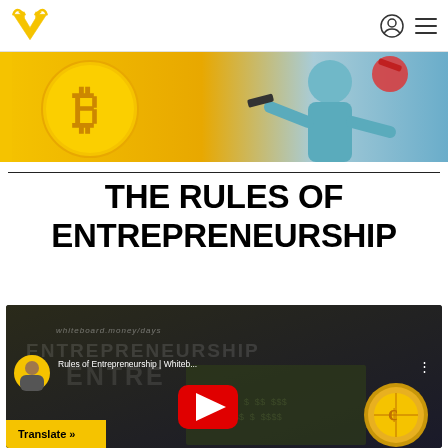Fox Academy navigation bar with logo, user icon, and menu icon
[Figure (screenshot): Hero banner image with Bitcoin symbol and person in teal shirt on yellow background]
THE RULES OF ENTREPRENEURSHIP
[Figure (screenshot): YouTube video thumbnail for 'Rules of Entrepreneurship | Whiteb...' with channel avatar, play button, Translate button, and gold coin graphic]